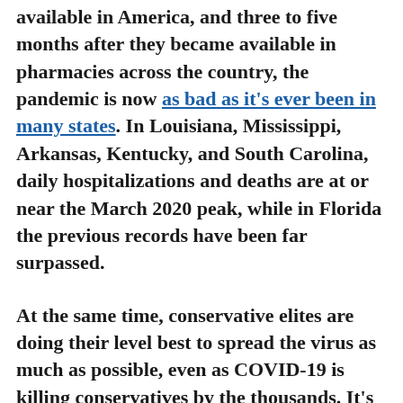available in America, and three to five months after they became available in pharmacies across the country, the pandemic is now as bad as it's ever been in many states. In Louisiana, Mississippi, Arkansas, Kentucky, and South Carolina, daily hospitalizations and deaths are at or near the March 2020 peak, while in Florida the previous records have been far surpassed.
At the same time, conservative elites are doing their level best to spread the virus as much as possible, even as COVID-19 is killing conservatives by the thousands. It's